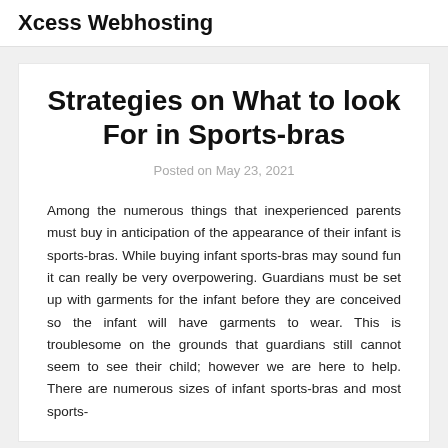Xcess Webhosting
Strategies on What to look For in Sports-bras
Posted on May 23, 2021
Among the numerous things that inexperienced parents must buy in anticipation of the appearance of their infant is sports-bras. While buying infant sports-bras may sound fun it can really be very overpowering. Guardians must be set up with garments for the infant before they are conceived so the infant will have garments to wear. This is troublesome on the grounds that guardians still cannot seem to see their child; however we are here to help. There are numerous sizes of infant sports-bras and most sports-